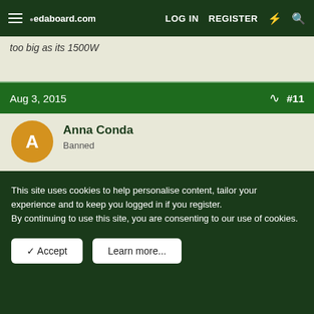edaboard.com | LOG IN | REGISTER
too big as its 1500W
Aug 3, 2015  #11
Anna Conda
Banned
Don't forget in the sepic the current in the mosfet is ~ 2 x the input current (more for higher o/p currents) and similarly for the o/p diode and the o/p diode sees more volts than just the o/p
This site uses cookies to help personalise content, tailor your experience and to keep you logged in if you register.
By continuing to use this site, you are consenting to our use of cookies.